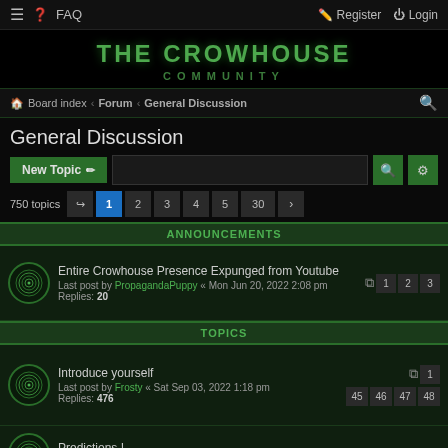≡  ? FAQ    Register  Login
[Figure (logo): The Crowhouse Community logo - green text on black background]
Board index › Forum › General Discussion
General Discussion
New Topic  [search box]  750 topics  1 2 3 4 5 ... 30 >
ANNOUNCEMENTS
Entire Crowhouse Presence Expunged from Youtube
Last post by PropagandaPuppy « Mon Jun 20, 2022 2:08 pm
Replies: 20
[pages: 1 2 3]
TOPICS
Introduce yourself
Last post by Frosty « Sat Sep 03, 2022 1:18 pm
Replies: 476
[pages: 1 ... 45 46 47 48]
Predictions !
Last post by ...